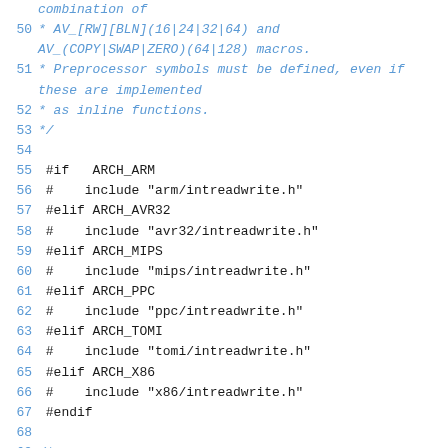combination of
50  * AV_[RW][BLN](16|24|32|64) and AV_(COPY|SWAP|ZERO)(64|128) macros.
51  * Preprocessor symbols must be defined, even if these are implemented
52  * as inline functions.
53  */
54
55 #if   ARCH_ARM
56 #    include "arm/intreadwrite.h"
57 #elif ARCH_AVR32
58 #    include "avr32/intreadwrite.h"
59 #elif ARCH_MIPS
60 #    include "mips/intreadwrite.h"
61 #elif ARCH_PPC
62 #    include "ppc/intreadwrite.h"
63 #elif ARCH_TOMI
64 #    include "tomi/intreadwrite.h"
65 #elif ARCH_X86
66 #    include "x86/intreadwrite.h"
67 #endif
68
69 /*
70  * Map AV_RNXX <-> AV_R[BL]XX for all variants provided by per-arch headers.
71 ...